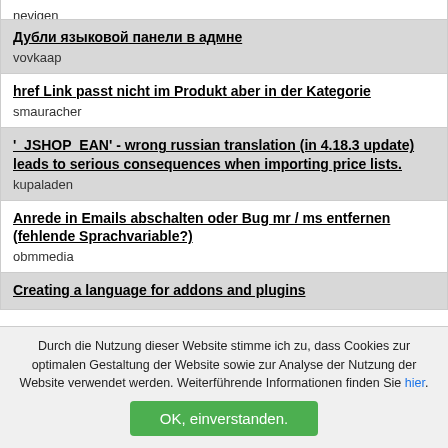nevigen
Дубли языковой панели в адмне
vovkaap
href Link passt nicht im Produkt aber in der Kategorie
smauracher
'_JSHOP_EAN' - wrong russian translation (in 4.18.3 update) leads to serious consequences when importing price lists.
kupaladen
Anrede in Emails abschalten oder Bug mr / ms entfernen (fehlende Sprachvariable?)
obmmedia
Creating a language for addons and plugins
Durch die Nutzung dieser Website stimme ich zu, dass Cookies zur optimalen Gestaltung der Website sowie zur Analyse der Nutzung der Website verwendet werden. Weiterführende Informationen finden Sie hier.